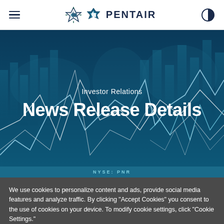Pentair — Navigation bar with hamburger menu, Pentair logo, and contrast toggle
[Figure (illustration): Financial chart hero banner with world map background, stock line charts, and bar graphs in dark teal/blue tones]
Investor Relations
News Release Details
We use cookies to personalize content and ads, provide social media features and analyze traffic. By clicking "Accept Cookies" you consent to the use of cookies on your device. To modify cookie settings, click "Cookie Settings."